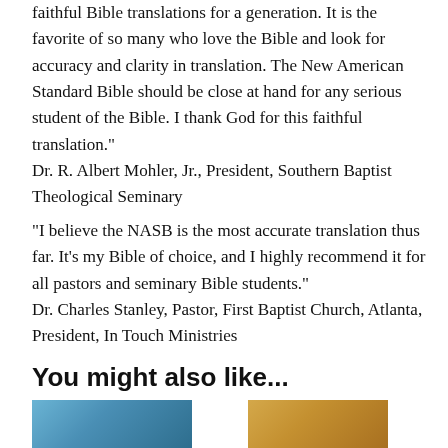faithful Bible translations for a generation. It is the favorite of so many who love the Bible and look for accuracy and clarity in translation. The New American Standard Bible should be close at hand for any serious student of the Bible. I thank God for this faithful translation."
Dr. R. Albert Mohler, Jr., President, Southern Baptist Theological Seminary
"I believe the NASB is the most accurate translation thus far. It's my Bible of choice, and I highly recommend it for all pastors and seminary Bible students."
Dr. Charles Stanley, Pastor, First Baptist Church, Atlanta, President, In Touch Ministries
You might also like...
[Figure (photo): Two partial book/product images at bottom of page]